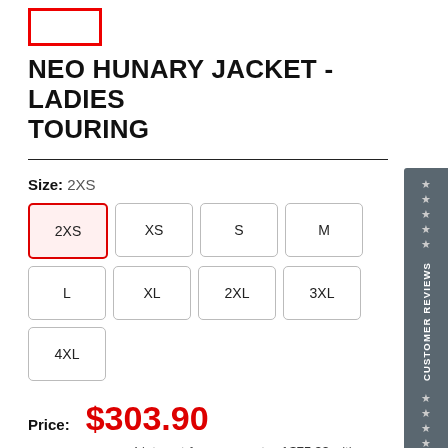[Figure (logo): Red outlined rectangle logo/placeholder at top left]
NEO HUNARY JACKET - LADIES TOURING
Size: 2XS
Size buttons: 2XS (selected), XS, S, M, L, XL, 2XL, 3XL, 4XL
Price: $303.90
or 4 interest-free payments of $75.98 with afterpay
Tax included